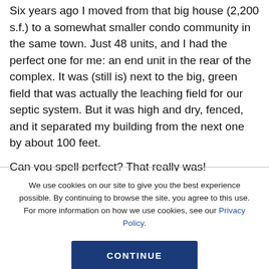Six years ago I moved from that big house (2,200 s.f.) to a somewhat smaller condo community in the same town. Just 48 units, and I had the perfect one for me: an end unit in the rear of the complex. It was (still is) next to the big, green field that was actually the leaching field for our septic system. But it was high and dry, fenced, and it separated my building from the next one by about 100 feet.

Can you spell perfect? That really was!
We use cookies on our site to give you the best experience possible. By continuing to browse the site, you agree to this use. For more information on how we use cookies, see our Privacy Policy.
CONTINUE